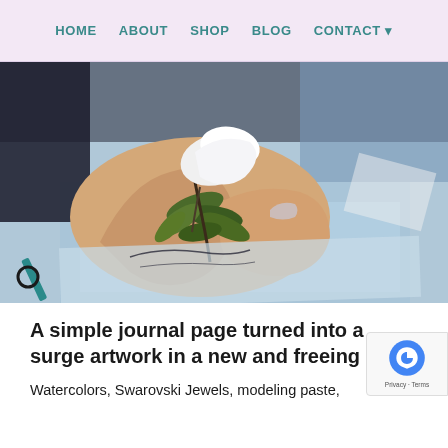HOME   ABOUT   SHOP   BLOG   CONTACT
[Figure (photo): Close-up photo of hands holding a white flower with green leaves over a mixed-media artwork/journal page with watercolor blue background and black ink calligraphy. Art supplies including scissors visible in lower left.]
A simple journal page turned into a surge artwork in a new and freeing style.
Watercolors, Swarovski Jewels, modeling paste,